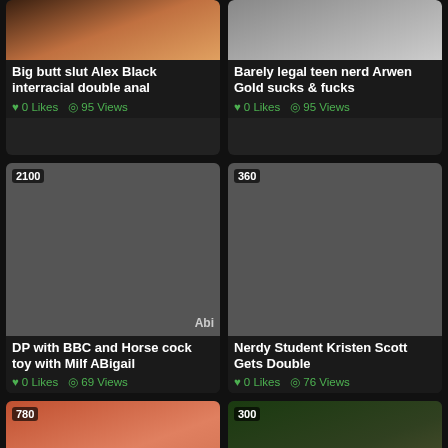[Figure (screenshot): Video thumbnail card - Big butt slut Alex Black interracial double anal, 0 Likes, 95 Views]
[Figure (screenshot): Video thumbnail card - Barely legal teen nerd Arwen Gold sucks & fucks, 0 Likes, 95 Views]
[Figure (screenshot): Video thumbnail card - DP with BBC and Horse cock toy with Milf ABigail, duration 2100, 0 Likes, 69 Views]
[Figure (screenshot): Video thumbnail card - Nerdy Student Kristen Scott Gets Double, duration 360, 0 Likes, 76 Views]
[Figure (screenshot): Video thumbnail card - row 3 left, duration 780, partial view]
[Figure (screenshot): Video thumbnail card - row 3 right, duration 300, partial view]
English (language selector with UK flag)